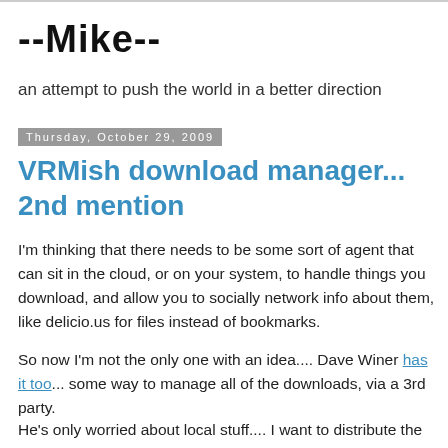--Mike--
an attempt to push the world in a better direction
Thursday, October 29, 2009
VRMish download manager... 2nd mention
I'm thinking that there needs to be some sort of agent that can sit in the cloud, or on your system, to handle things you download, and allow you to socially network info about them, like delicio.us for files instead of bookmarks.
So now I'm not the only one with an idea.... Dave Winer has it too... some way to manage all of the downloads, via a 3rd party.
He's only worried about local stuff.... I want to distribute the list, etc... but I think there is some common ground.